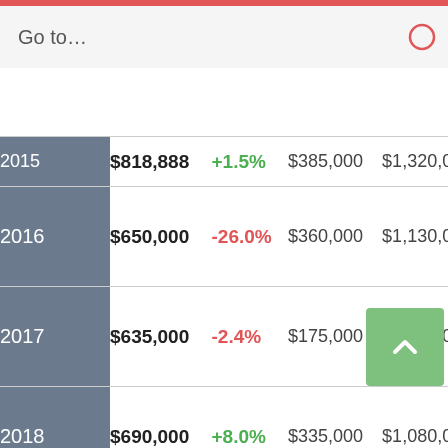| Year | Median | Change | Min | Max | Count |
| --- | --- | --- | --- | --- | --- |
| 2015 | $818,888 | +1.5% | $385,000 | $1,320,000 | 32 |
| 2016 | $650,000 | -26.0% | $360,000 | $1,130,000 | 34 |
| 2017 | $635,000 | -2.4% | $175,000 | $1,185,000 | 40 |
| 2018 | $690,000 | +8.0% | $335,000 | $1,080,000 | 25 |
| 2019 | $518,000 | -33.2% | $518,000 | $518,000 | 6 |
| 2020 | - | - | - | - | - |
| 2021 | - | - | - | - | - |